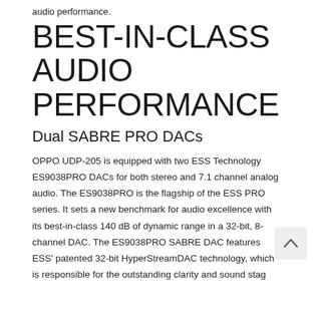audio performance.
BEST-IN-CLASS AUDIO PERFORMANCE
Dual SABRE PRO DACs
OPPO UDP-205 is equipped with two ESS Technology ES9038PRO DACs for both stereo and 7.1 channel analog audio. The ES9038PRO is the flagship of the ESS PRO series. It sets a new benchmark for audio excellence with its best-in-class 140 dB of dynamic range in a 32-bit, 8-channel DAC. The ES9038PRO SABRE DAC features ESS' patented 32-bit HyperStreamDAC technology, which is responsible for the outstanding clarity and sound stag